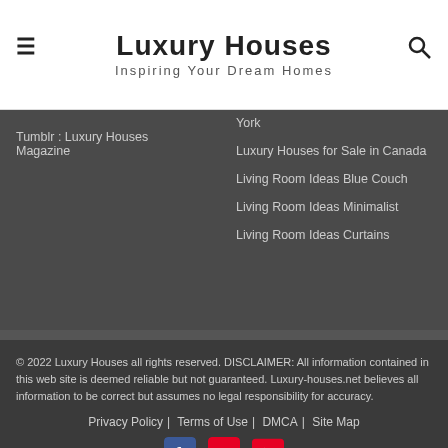Luxury Houses — Inspiring Your Dream Homes
Tumblr : Luxury Houses Magazine
York
Luxury Houses for Sale in Canada
Living Room Ideas Blue Couch
Living Room Ideas Minimalist
Living Room Ideas Curtains
© 2022 Luxury Houses all rights reserved. DISCLAIMER: All information contained in this web site is deemed reliable but not guaranteed. Luxury-houses.net believes all information to be correct but assumes no legal responsibility for accuracy. | Privacy Policy | Terms of Use | DMCA | Site Map